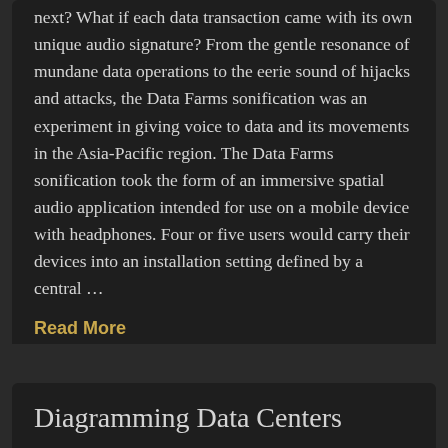next? What if each data transaction came with its own unique audio signature? From the gentle resonance of mundane data operations to the eerie sound of hijacks and attacks, the Data Farms sonification was an experiment in giving voice to data and its movements in the Asia-Pacific region. The Data Farms sonification took the form of an immersive spatial audio application intended for use on a mobile device with headphones. Four or five users would carry their devices into an installation setting defined by a central …
Read More
Diagramming Data Centers
Some work around mapping the spatial and temporal